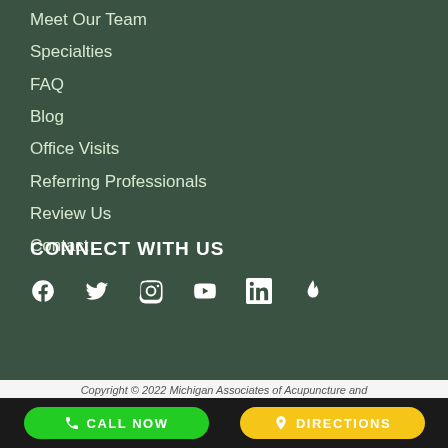Meet Our Team
Specialties
FAQ
Blog
Office Visits
Referring Professionals
Review Us
Contact
CONNECT WITH US
[Figure (infographic): Social media icons: Facebook, Twitter, Instagram, YouTube, LinkedIn, and a flame/fire icon]
Copyright © 2022 Michigan Associates of Acupuncture and
CALL NOW
DIRECTIONS